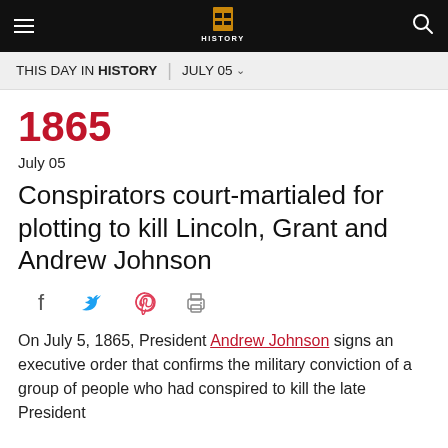HISTORY | THIS DAY IN HISTORY | JULY 05
1865
July 05
Conspirators court-martialed for plotting to kill Lincoln, Grant and Andrew Johnson
On July 5, 1865, President Andrew Johnson signs an executive order that confirms the military conviction of a group of people who had conspired to kill the late President